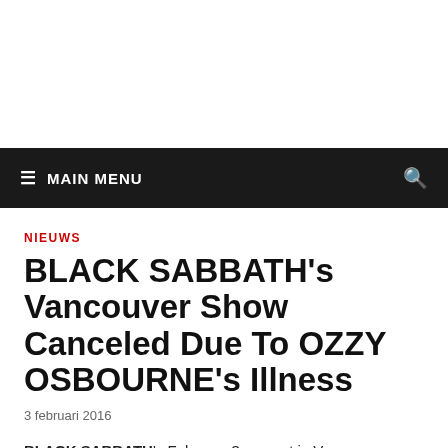MAIN MENU
NIEUWS
BLACK SABBATH's Vancouver Show Canceled Due To OZZY OSBOURNE's Illness
3 februari 2016
BLACK SABBATH's February 3 concert in Vancouver, British Columbia, Canada has been postponed due to Ozzy Osbourne's battle with...